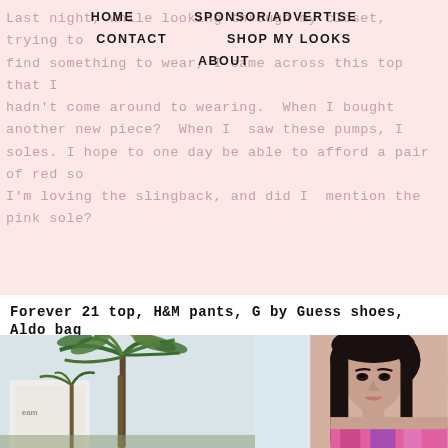Last night, while looking through my closet, trying to find something to wear for an event, I came across this top that I hadn't come around to wearing. When I bought another new piece? When I saw these pumps, I fell in love with the red soles. I hope to one day be able to afford a pair of red sole shoes. For now, I'm loving the slingback, and did I mention the pink sole?
HOME   SPONSOR/ADVERTISE   CONTACT   SHOP MY LOOKS   ABOUT
Forever 21 top, H&M pants, G by Guess shoes, Aldo bag
[Figure (photo): Two side-by-side outdoor photos: left shows palm trees against a bright sky with a building; right shows a young woman with long dark hair wearing a pink/purple patterned top, outdoors.]